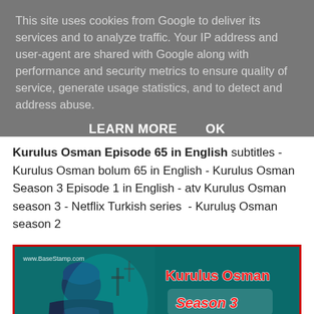This site uses cookies from Google to deliver its services and to analyze traffic. Your IP address and user-agent are shared with Google along with performance and security metrics to ensure quality of service, generate usage statistics, and to detect and address abuse.
LEARN MORE    OK
Kurulus Osman Episode 65 in English subtitles - Kurulus Osman bolum 65 in English - Kurulus Osman Season 3 Episode 1 in English - atv Kurulus Osman season 3 - Netflix Turkish series - Kuruluş Osman season 2
[Figure (photo): Promotional image for Kurulus Osman Season 3 Episode 1 with Urdu & English subtitles. Shows a man in Ottoman attire with blue turban against a teal background. Text overlay reads: www.BaseStamp.com, Kurulus Osman, Season 3, Episode 1, Urdu & English]